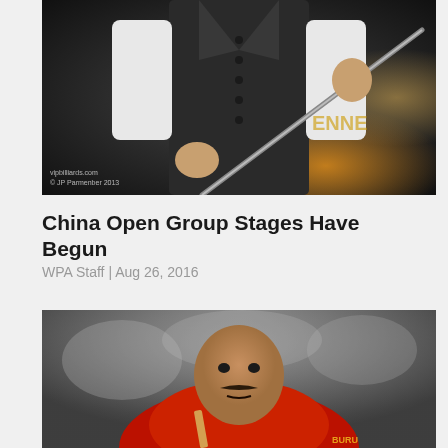[Figure (photo): Billiards player in dark vest and white shirt holding a cue stick, photographed from chest down. Watermark: vipbilliards.com / © JP Parmenber 2013]
China Open Group Stages Have Begun
WPA Staff | Aug 26, 2016
[Figure (photo): Close-up of a billiards player wearing a red shirt, looking focused, holding a cue stick. Appears to be competing at a major tournament.]